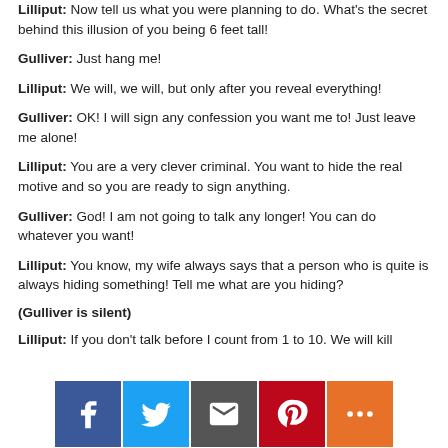Lilliput: Now tell us what you were planning to do. What's the secret behind this illusion of you being 6 feet tall!
Gulliver: Just hang me!
Lilliput: We will, we will, but only after you reveal everything!
Gulliver: OK! I will sign any confession you want me to! Just leave me alone!
Lilliput: You are a very clever criminal. You want to hide the real motive and so you are ready to sign anything.
Gulliver: God! I am not going to talk any longer! You can do whatever you want!
Lilliput: You know, my wife always says that a person who is quite is always hiding something! Tell me what are you hiding?
(Gulliver is silent)
Lilliput: If you don't talk before I count from 1 to 10. We will kill
[Figure (infographic): Social sharing buttons: Facebook (blue), Twitter (light blue), Email (gray), Pinterest (red), More (orange)]